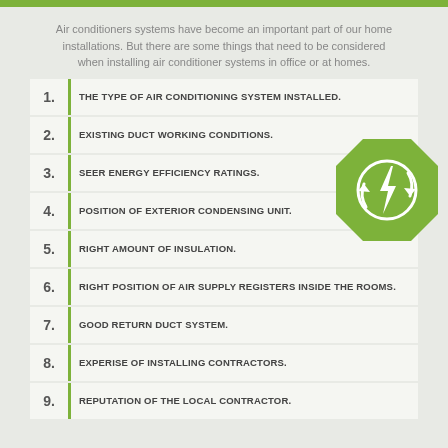Air conditioners systems have become an important part of our home installations. But there are some things that need to be considered when installing air conditioner systems in office or at homes.
1. THE TYPE OF AIR CONDITIONING SYSTEM INSTALLED.
2. EXISTING DUCT WORKING CONDITIONS.
3. SEER ENERGY EFFICIENCY RATINGS.
4. POSITION OF EXTERIOR CONDENSING UNIT.
5. RIGHT AMOUNT OF INSULATION.
6. RIGHT POSITION OF AIR SUPPLY REGISTERS INSIDE THE ROOMS.
7. GOOD RETURN DUCT SYSTEM.
8. EXPERISE OF INSTALLING CONTRACTORS.
9. REPUTATION OF THE LOCAL CONTRACTOR.
[Figure (illustration): Green octagon icon with a lightning bolt and circular arrows, representing energy efficiency]